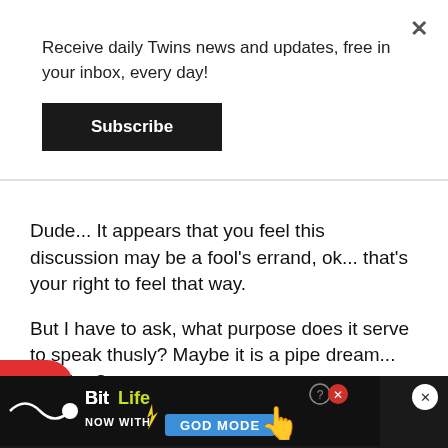Receive daily Twins news and updates, free in your inbox, every day!
Subscribe
Dude... It appears that you feel this discussion may be a fool's errand, ok... that's your right to feel that way.

But I have to ask, what purpose does it serve to speak thusly?  Maybe it is a pipe dream... so what?
[Figure (other): Red pill-shaped scroll-to-top button with white upward arrow]
+ Quote  ♥ 4  😠 1
[Figure (other): BitLife advertisement banner: BitLife NOW WITH GOD MODE with pixel art hands pointing]